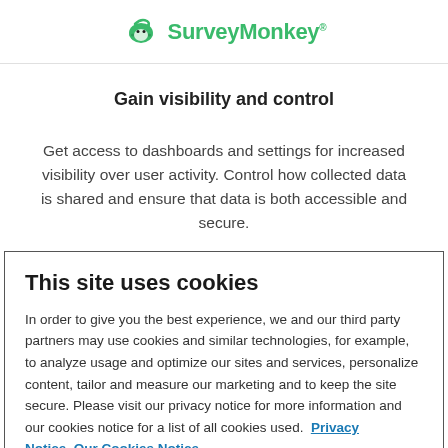SurveyMonkey®
Gain visibility and control
Get access to dashboards and settings for increased visibility over user activity. Control how collected data is shared and ensure that data is both accessible and secure.
This site uses cookies
In order to give you the best experience, we and our third party partners may use cookies and similar technologies, for example, to analyze usage and optimize our sites and services, personalize content, tailor and measure our marketing and to keep the site secure. Please visit our privacy notice for more information and our cookies notice for a list of all cookies used.  Privacy Notice  Our Cookies Notice